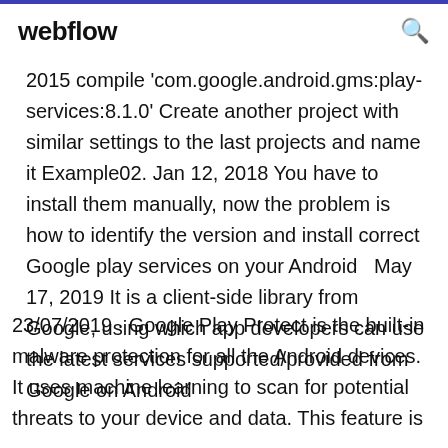webflow
2015 compile 'com.google.android.gms:play-services:8.1.0' Create another project with similar settings to the last projects and name it Example02. Jan 12, 2018 You have to install them manually, now the problem is how to identify the version and install correct Google play services on your Android  May 17, 2019 It is a client-side library from Google, using which app developers can use the latest services supported/provided from Google on Android
23/07/2019 · Google Play Protect is the built-in malware protection for all the Android devices. It uses machine learning to scan for potential threats to your device and data. This feature is